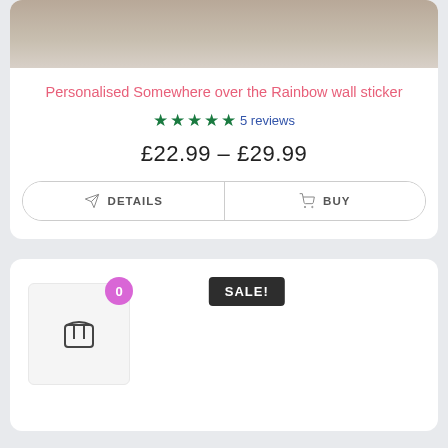[Figure (photo): Top portion of a product card showing a wooden toy on a light wood floor background]
Personalised Somewhere over the Rainbow wall sticker
★★★★★ 5 reviews
£22.99 – £29.99
DETAILS | BUY
[Figure (screenshot): Second product card showing SALE! badge and a product thumbnail with basket icon and cart badge showing 0]
SALE!